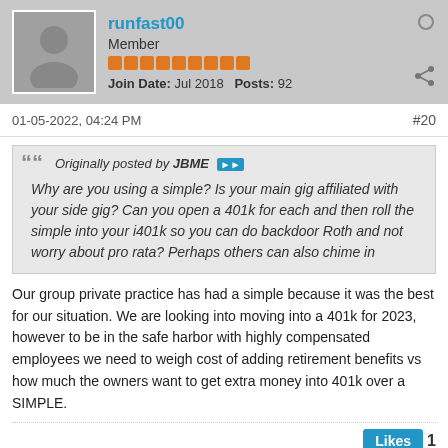runfast00 | Member | Join Date: Jul 2018 | Posts: 92
01-05-2022, 04:24 PM  #20
Originally posted by JBME
Why are you using a simple? Is your main gig affiliated with your side gig? Can you open a 401k for each and then roll the simple into your i401k so you can do backdoor Roth and not worry about pro rata? Perhaps others can also chime in
Our group private practice has had a simple because it was the best for our situation. We are looking into moving into a 401k for 2023, however to be in the safe harbor with highly compensated employees we need to weigh cost of adding retirement benefits vs how much the owners want to get extra money into 401k over a SIMPLE.
Likes  1